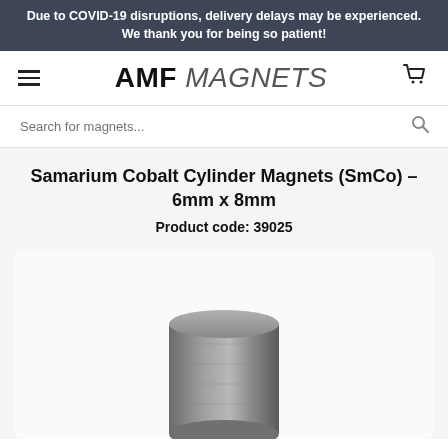Due to COVID-19 disruptions, delivery delays may be experienced. We thank you for being so patient!
[Figure (logo): AMF MAGNETS logo with hamburger menu icon on left and shopping cart icon on right]
Search for magnets...
Samarium Cobalt Cylinder Magnets (SmCo) - 6mm x 8mm
Product code: 39025
[Figure (photo): Photo of a small cylindrical samarium cobalt magnet, grey metallic color, shown against a white/light grey background]